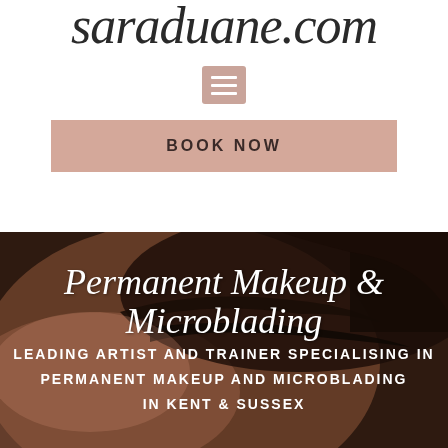saraduane.com
[Figure (other): Hamburger menu icon — three horizontal white bars on a rose/pink square background]
BOOK NOW
[Figure (photo): Close-up portrait photograph of a woman's face, dark toned, showing eyebrows and eyelashes — background image for the lower section]
Permanent Makeup & Microblading
LEADING ARTIST AND TRAINER SPECIALISING IN PERMANENT MAKEUP AND MICROBLADING IN KENT & SUSSEX